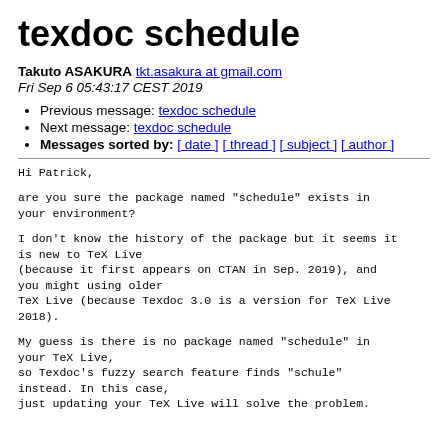texdoc schedule
Takuto ASAKURA tkt.asakura at gmail.com
Fri Sep 6 05:43:17 CEST 2019
Previous message: texdoc schedule
Next message: texdoc schedule
Messages sorted by: [ date ] [ thread ] [ subject ] [ author ]
Hi Patrick,

are you sure the package named "schedule" exists in
your environment?

I don't know the history of the package but it seems it
is new to TeX Live
(because it first appears on CTAN in Sep. 2019), and
you might using older
TeX Live (because Texdoc 3.0 is a version for TeX Live
2018).

My guess is there is no package named "schedule" in
your TeX Live,
so Texdoc's fuzzy search feature finds "schule"
instead. In this case,
just updating your TeX Live will solve the problem.